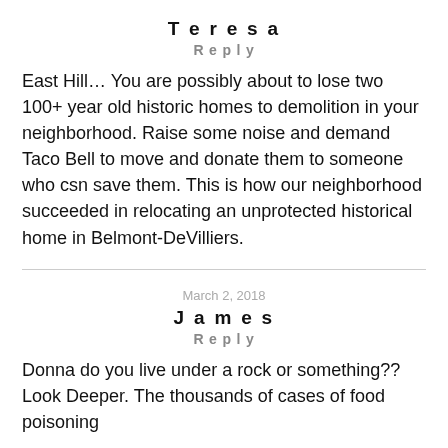Teresa
Reply
East Hill… You are possibly about to lose two 100+ year old historic homes to demolition in your neighborhood. Raise some noise and demand Taco Bell to move and donate them to someone who csn save them. This is how our neighborhood succeeded in relocating an unprotected historical home in Belmont-DeVilliers.
March 2, 2018
James
Reply
Donna do you live under a rock or something?? Look Deeper. The thousands of cases of food poisoning